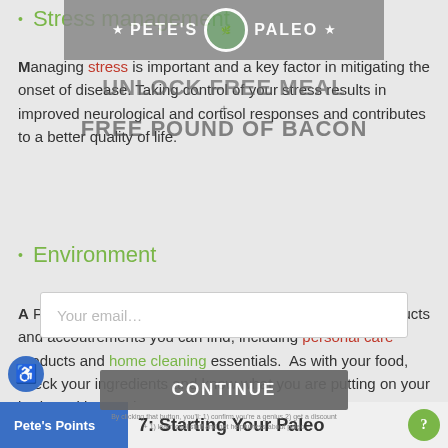[Figure (logo): Pete's Paleo logo banner with gray ribbon, stars, and circular emblem]
Stress management
Managing stress is important and a key factor in mitigating the onset of disease. Taking control of your stress results in improved neurological and cortisol responses and contributes to a better quality of life.
[Figure (infographic): Overlay popup: UNLOCK FREE MEAL + FREE POUND OF BACON with email input and CONTINUE button]
Environment
A Paleo lifestyle also includes using the most natural products and accoutrements you can find, including personal care products and home cleaning essentials. As with your food, check your ingredients and know what you are putting on your body and in your home.
Pete's Points    7: Starting Your Paleo